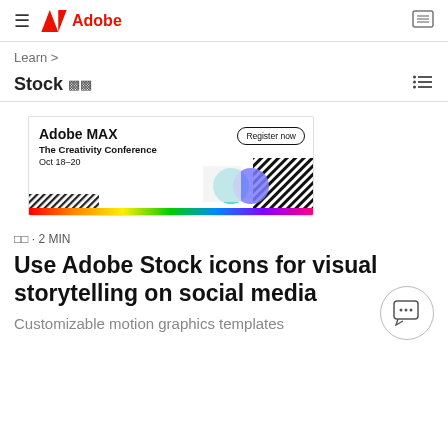≡  Adobe
Learn >
Stock 🀅🀆
[Figure (infographic): Adobe MAX The Creativity Conference banner ad with 'Register now' button, Oct 18-20 date, colorful graphic elements on right side, rainbow bar along bottom]
🀁🀂 · 2 MIN
Use Adobe Stock icons for visual storytelling on social media
Customizable motion graphics templates